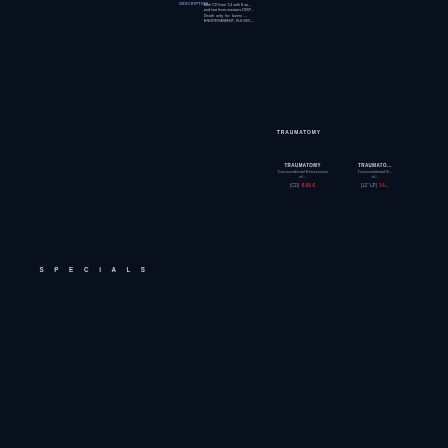DESCRIPTION:
Mini CD from '14 with 0 so... and two from russians DISP... Death only for lovers ... ENGORGEMENT, VULVEC...
TRAUMATOMY
[Figure (photo): Black album cover image for TRAUMATOMY - Transcendental Evisceration of...]
TRAUMATOMY
Transcendental Evisceration of...
[CD]  8.95 €
[Figure (photo): Black album cover image for TRAUMATOMY - Transcendental Evisceration of... (12" LP)]
TRAUMATO...
Transcendental E... of...
[12" LP]  14...
SPECIALS
[Figure (photo): Black album cover image - bottom left product]
[Figure (photo): Black album cover image - bottom right product]
FORMAT